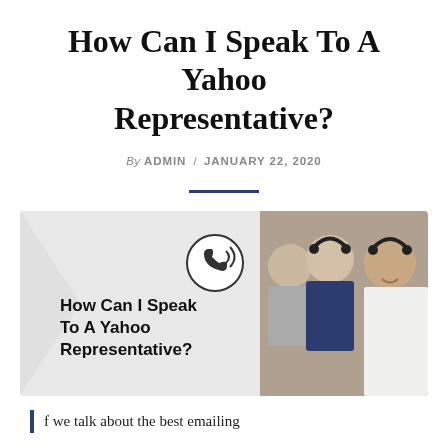How Can I Speak To A Yahoo Representative?
By ADMIN / JANUARY 22, 2020
[Figure (illustration): Promotional image showing call center / customer support representatives wearing headsets, with bold text overlay reading 'How Can I Speak To A Yahoo Representative?' and a phone icon.]
f we talk about the best emailing